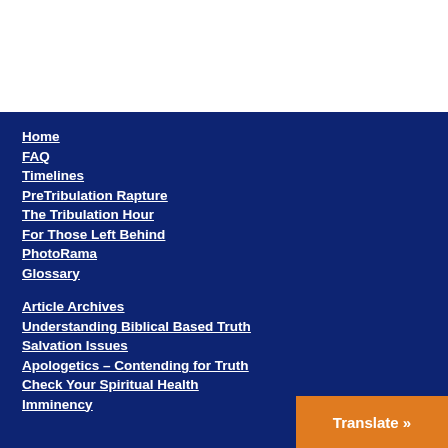[Figure (other): White blank area at top of page]
Home
FAQ
Timelines
PreTribulation Rapture
The Tribulation Hour
For Those Left Behind
PhotoRama
Glossary
Article Archives
Understanding Biblical Based Truth
Salvation Issues
Apologetics – Contending for Truth
Check Your Spiritual Health
Imminency
Translate »